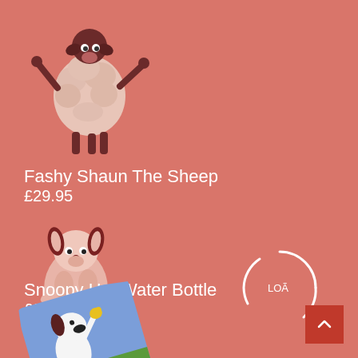[Figure (photo): Fashy Shaun The Sheep plush toy figure with dark brown limbs and white/pink fluffy body]
Fashy Shaun The Sheep
£29.95
[Figure (photo): Snoopy soft toy plush hot water bottle cover in pink with dark brown ears]
[Figure (other): Loading spinner circle graphic with text LOÃ]
Snoopy Hot Water Bottle
£0
[Figure (photo): Snoopy themed illustrated cushion/book with Snoopy holding Woodstock on a blue background with green grass]